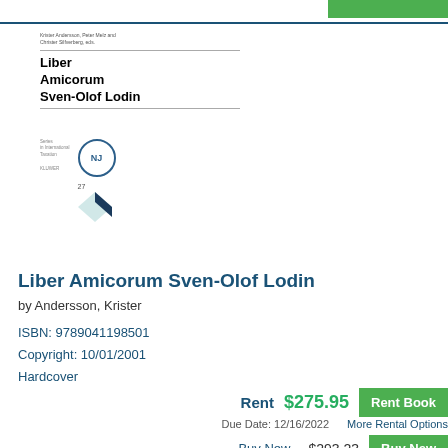[Figure (illustration): Book cover of Liber Amicorum Sven-Olof Lodin showing title in bold serif font with small publisher text and NJ badge logo with geometric diamond shape]
Liber Amicorum Sven-Olof Lodin
by Andersson, Krister
ISBN: 9789041198501
Copyright: 10/01/2001
Hardcover
Rent $275.95 Rent Book
Due Date: 12/16/2022 More Rental Options
Buy New $293.23 Buy New